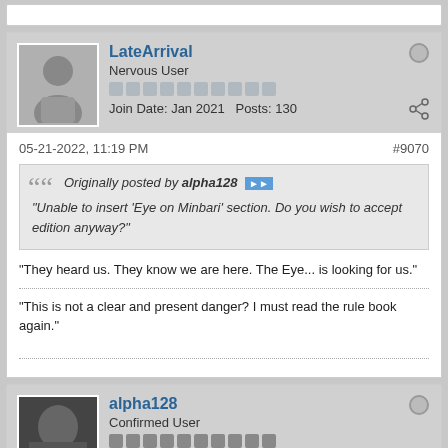[Figure (other): User avatar silhouette placeholder for LateArrival]
LateArrival
Nervous User
Join Date: Jan 2021   Posts: 130
05-21-2022, 11:19 PM
#9070
Originally posted by alpha128
"Unable to insert 'Eye on Minbari' section. Do you wish to accept edition anyway?"
"They heard us. They know we are here. The Eye... is looking for us."
"This is not a clear and present danger? I must read the rule book again."
[Figure (photo): User avatar photo for alpha128]
alpha128
Confirmed User